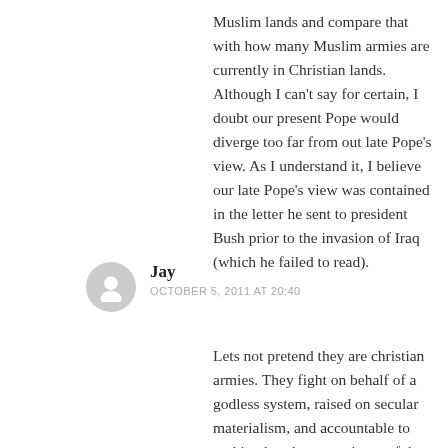Muslim lands and compare that with how many Muslim armies are currently in Christian lands. Although I can't say for certain, I doubt our present Pope would diverge too far from out late Pope's view. As I understand it, I believe our late Pope's view was contained in the letter he sent to president Bush prior to the invasion of Iraq (which he failed to read).
Jay
OCTOBER 5, 2011 AT 20:40
Lets not pretend they are christian armies. They fight on behalf of a godless system, raised on secular materialism, and accountable to nothing but the sovereignty of the majority. Right or wrong, there is nothing christian about those